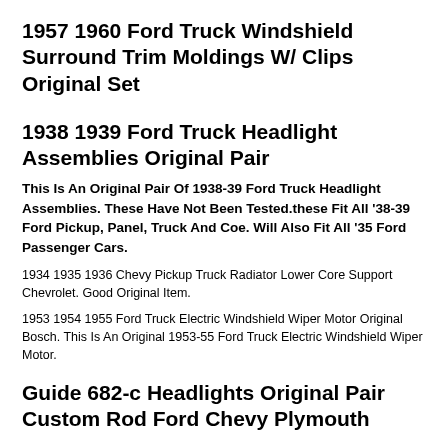1957 1960 Ford Truck Windshield Surround Trim Moldings W/ Clips Original Set
1938 1939 Ford Truck Headlight Assemblies Original Pair
This Is An Original Pair Of 1938-39 Ford Truck Headlight Assemblies. These Have Not Been Tested.these Fit All '38-39 Ford Pickup, Panel, Truck And Coe. Will Also Fit All '35 Ford Passenger Cars.
1934 1935 1936 Chevy Pickup Truck Radiator Lower Core Support Chevrolet. Good Original Item.
1953 1954 1955 Ford Truck Electric Windshield Wiper Motor Original Bosch. This Is An Original 1953-55 Ford Truck Electric Windshield Wiper Motor.
Guide 682-c Headlights Original Pair Custom Rod Ford Chevy Plymouth